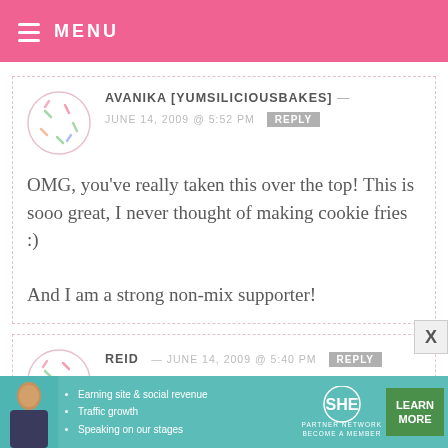MENU
AVANIKA [YUMSILICIOUSBAKES] — JUNE 14, 2009 @ 5:52 PM  REPLY
OMG, you've really taken this over the top! This is sooo great, I never thought of making cookie fries :)

And I am a strong non-mix supporter!
REID — JUNE 14, 2009 @ 5:40 PM  REPLY
Baking from scratch is great
[Figure (infographic): SHE Partner Network advertisement banner with woman photo, bullet points about earning revenue, traffic growth, speaking on stages, and a Learn More button]